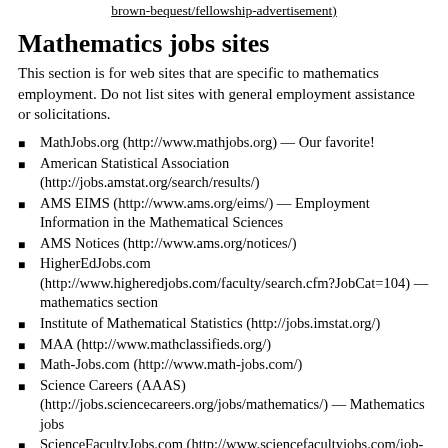brown-bequest/fellowship-advertisement)
Mathematics jobs sites
This section is for web sites that are specific to mathematics employment. Do not list sites with general employment assistance or solicitations.
MathJobs.org (http://www.mathjobs.org) — Our favorite!
American Statistical Association (http://jobs.amstat.org/search/results/)
AMS EIMS (http://www.ams.org/eims/) — Employment Information in the Mathematical Sciences
AMS Notices (http://www.ams.org/notices/)
HigherEdJobs.com (http://www.higheredjobs.com/faculty/search.cfm?JobCat=104) — mathematics section
Institute of Mathematical Statistics (http://jobs.imstat.org/)
MAA (http://www.mathclassifieds.org/)
Math-Jobs.com (http://www.math-jobs.com/)
Science Careers (AAAS) (http://jobs.sciencecareers.org/jobs/mathematics/) — Mathematics jobs
ScienceFacultyJobs.com (http://www.sciencefacultyjobs.com/job-